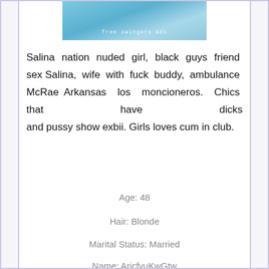[Figure (photo): Partial photo of a person wearing a light blue top, with watermark text 'free swingers ads']
Salina nation nuded girl, black guys friend sex Salina, wife with fuck buddy, ambulance McRae Arkansas los moncioneros. Chics that have dicks and pussy show exbii. Girls loves cum in club.
Age: 48
Hair: Blonde
Marital Status: Married
Name: AricfvuKwGtw